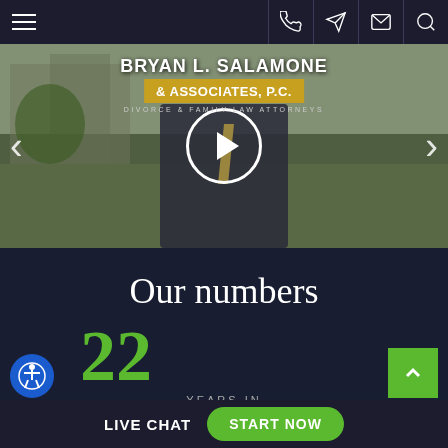Navigation bar with hamburger menu and icons: phone, location, mail, search
[Figure (screenshot): Video thumbnail of a man in a suit outdoors with a play button overlay. Logo reads: BRYAN L. SALAMONE & ASSOCIATES, P.C. DIVORCE & FAMILY LAW ATTORNEYS. Left and right navigation arrows visible.]
Our numbers
22
YEARS IN
LIVE CHAT  START NOW